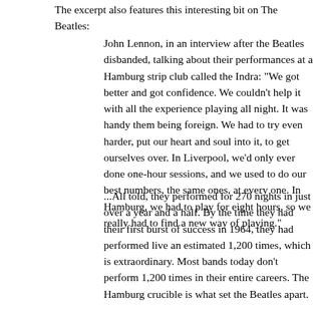The excerpt also features this interesting bit on The Beatles:
John Lennon, in an interview after the Beatles disbanded, talking about their performances at a Hamburg strip club called the Indra: "We got better and got confidence. We couldn't help it with all the experience playing all night. It was handy them being foreign. We had to try even harder, put our heart and soul into it, to get ourselves over. In Liverpool, we'd only ever done one-hour sessions, and we used to do our best numbers, the same ones, at every one. In Hamburg, we had to play for eight hours, so we really had to find a new way of playing."
...All told, they performed for 270 nights in just over a year and a half. By the time they had their first burst of success in 1964, they had performed live an estimated 1,200 times, which is extraordinary. Most bands today don't perform 1,200 times in their entire careers. The Hamburg crucible is what set the Beatles apart.
This struck a chord: "It was handy them being foreign. We had to try even harder, put our soul into it, to get ourselves over." You could say the same thing about stand-up comedy. To get over at these gigs, you really have to bring something. You've got to bring a killer closer every moment or have a really strong bit. In front of a packed house, on the other hand, you can get away with slacking a bit more. The crowd will provide the juice.
In fact, I sometimes wonder about comics who get a break and wind up doing well almost right out of the gate. Like maybe they miss out on the foundation you get